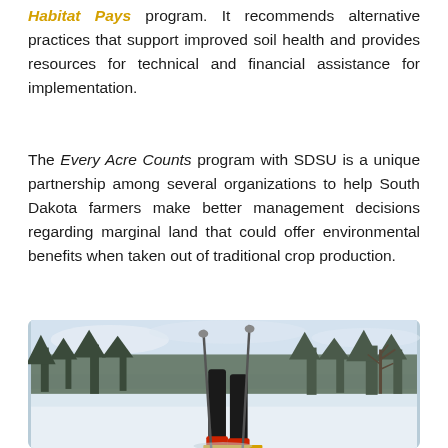Habitat Pays program. It recommends alternative practices that support improved soil health and provides resources for technical and financial assistance for implementation.
The Every Acre Counts program with SDSU is a unique partnership among several organizations to help South Dakota farmers make better management decisions regarding marginal land that could offer environmental benefits when taken out of traditional crop production.
[Figure (photo): A person cross-country skiing in a snowy winter landscape with bare trees and a forest in the background. The skier is wearing black pants and red boots, holding ski poles.]